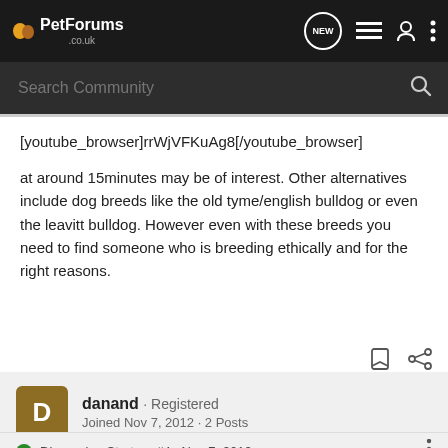PetForums .co.uk
[youtube_browser]rrWjVFKuAg8[/youtube_browser]
at around 15minutes may be of interest. Other alternatives include dog breeds like the old tyme/english bulldog or even the leavitt bulldog. However even with these breeds you need to find someone who is breeding ethically and for the right reasons.
danand · Registered
Joined Nov 7, 2012 · 2 Posts
Discussion Starter · #4 · Nov 7, 2012